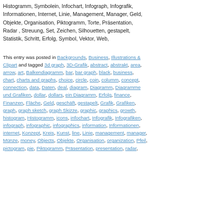Histogramm, Symbolein, Infochart, Infograph, Infografik, Informationen, Internet, Linie, Management, Manager, Geld, Objekte, Organisation, Piktogramm, Torte, Präsentation, Radar , Streuung, Set, Zeichen, Silhouetten, gestapelt, Statistik, Schritt, Erfolg, Symbol, Vektor, Web,
This entry was posted in Backgrounds, Business, Illustrations & Clipart and tagged 3d graph, 3D-Grafik, abstract, abstrakt, area, arrow, art, Balkendiagramm, bar, bar graph, black, business, chart, charts and graphs, choice, circle, coin, columm, concept, connection, data, Daten, deal, diagram, Diagramm, Diagramme und Grafiken, dollar, dollars, ein Diagramm, Erfolg, finance, Finanzen, Fläche, Geld, geschäft, gestapelt, Grafik, Grafiken, graph, graph sketch, graph Skizze, graphic, graphics, growth, histogram, Histogramm, icons, infochart, Infografik, Infografiken, infograph, infographic, infographics, information, Informationen, internet, Konzept, Kreis, Kunst, line, Linie, management, manager, Münze, money, Objects, Objekte, Organisation, organization, Pfeil, pictogram, pie, Piktogramm, Präsentation, presentation, radar,